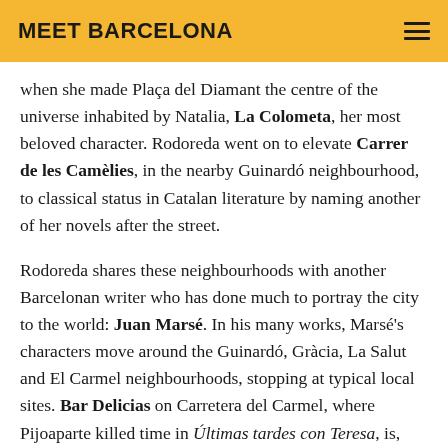MEET BARCELONA
when she made Plaça del Diamant the centre of the universe inhabited by Natalia, La Colometa, her most beloved character. Rodoreda went on to elevate Carrer de les Camèlies, in the nearby Guinardó neighbourhood, to classical status in Catalan literature by naming another of her novels after the street.
Rodoreda shares these neighbourhoods with another Barcelonan writer who has done much to portray the city to the world: Juan Marsé. In his many works, Marsé's characters move around the Guinardó, Gràcia, La Salut and El Carmel neighbourhoods, stopping at typical local sites. Bar Delicias on Carretera del Carmel, where Pijoaparte killed time in Últimas tardes con Teresa, is, without doubt, the finest spot at which to appreciate the different settings used by this popular writer.